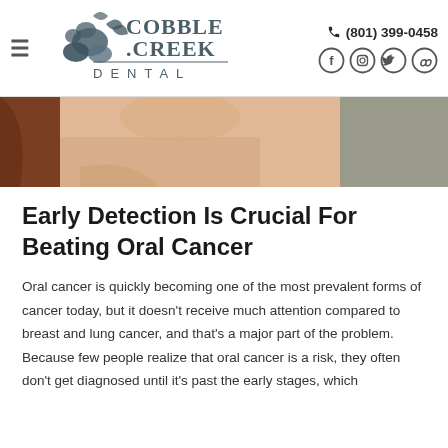[Figure (logo): Cobble Creek Dental logo with stone/rock graphic and stylized text]
(801) 399-0458
[Figure (photo): Close-up photo of a woman's face and neck, partial view, reddish-brown hair]
Early Detection Is Crucial For Beating Oral Cancer
Oral cancer is quickly becoming one of the most prevalent forms of cancer today, but it doesn't receive much attention compared to breast and lung cancer, and that's a major part of the problem. Because few people realize that oral cancer is a risk, they often don't get diagnosed until it's past the early stages, which